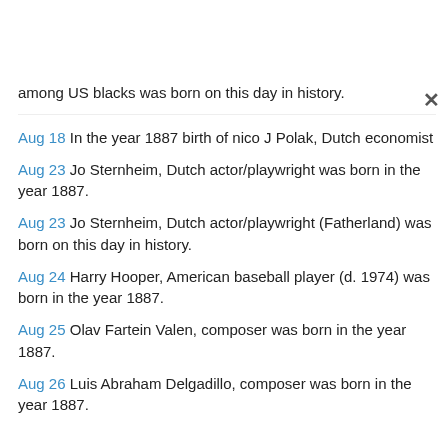among US blacks was born on this day in history.
Aug 18 In the year 1887 birth of nico J Polak, Dutch economist
Aug 23 Jo Sternheim, Dutch actor/playwright was born in the year 1887.
Aug 23 Jo Sternheim, Dutch actor/playwright (Fatherland) was born on this day in history.
Aug 24 Harry Hooper, American baseball player (d. 1974) was born in the year 1887.
Aug 25 Olav Fartein Valen, composer was born in the year 1887.
Aug 26 Luis Abraham Delgadillo, composer was born in the year 1887.